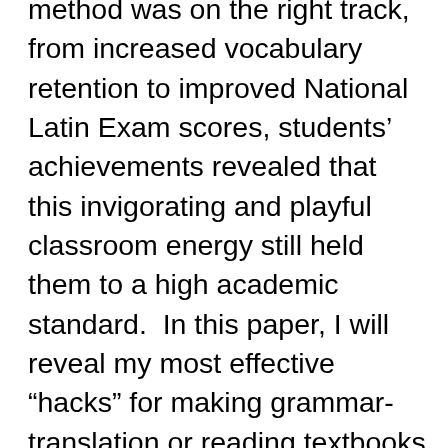method was on the right track, from increased vocabulary retention to improved National Latin Exam scores, students' achievements revealed that this invigorating and playful classroom energy still held them to a high academic standard.  In this paper, I will reveal my most effective “hacks” for making grammar-translation or reading textbooks fulfill the needs of Active Latin teachers.  Next, I will walk through a “day-in-the-life” of an Active Latin teacher in a public high school, from lesson planning to assessment and beyond.  A variety of techniques, both small and large scale, can be adopted by teachers of various comfort levels with the method.  Finally, I will highlight the lasting questions I ask myself and pose to the audience, so that we can strive to encounter pedagogical methods as beginnings, rather than ends in themselves.  Beyond the pedagogy wars, the fear of making mistakes in spoken Latin, and other pressures, students can